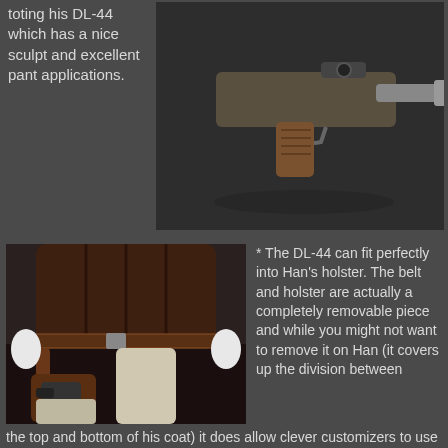toting his DL-44 which has a nice sculpt and excellent pant applications.
[Figure (photo): Close-up photo of a Han Solo action figure's DL-44 blaster pistol accessory lying on a surface]
[Figure (photo): Photo of Han Solo action figure showing the belt, holster, and DL-44 blaster at the hip]
* The DL-44 can fit perfectly into Han's holster. The belt and holster are actually a completely removable piece and while you might not want to remove it on Han (it covers up the division between the top and bottom of his coat) it does allow clever customizers to use this body to make some more generic Hoth Rebel troopers.